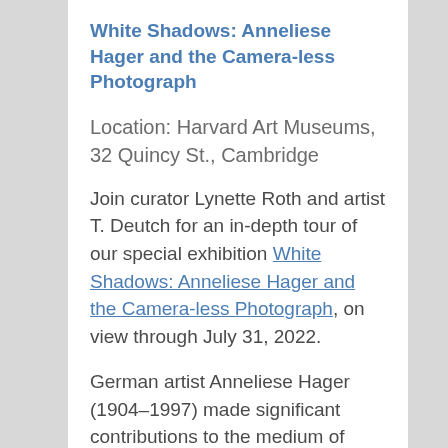White Shadows: Anneliese Hager and the Camera-less Photograph
Location: Harvard Art Museums, 32 Quincy St., Cambridge
Join curator Lynette Roth and artist T. Deutch for an in-depth tour of our special exhibition White Shadows: Anneliese Hager and the Camera-less Photograph, on view through July 31, 2022.
German artist Anneliese Hager (1904–1997) made significant contributions to the medium of